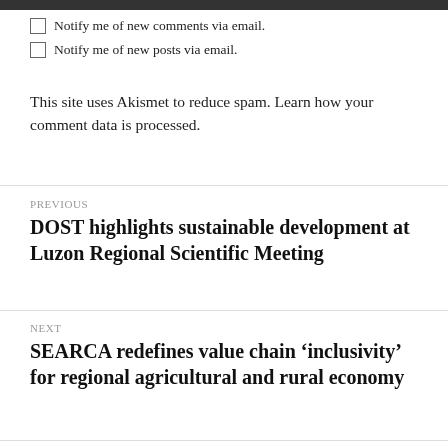Notify me of new comments via email.
Notify me of new posts via email.
This site uses Akismet to reduce spam. Learn how your comment data is processed.
PREVIOUS
DOST highlights sustainable development at Luzon Regional Scientific Meeting
NEXT
SEARCA redefines value chain ‘inclusivity’ for regional agricultural and rural economy